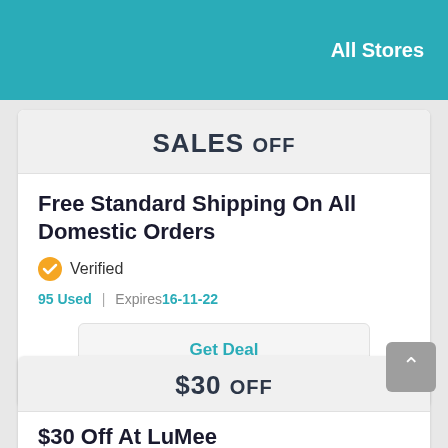All Stores
SALES OFF
Free Standard Shipping On All Domestic Orders
Verified
95 Used | Expires 16-11-22
Get Deal
$30 OFF
$30 Off At LuMee